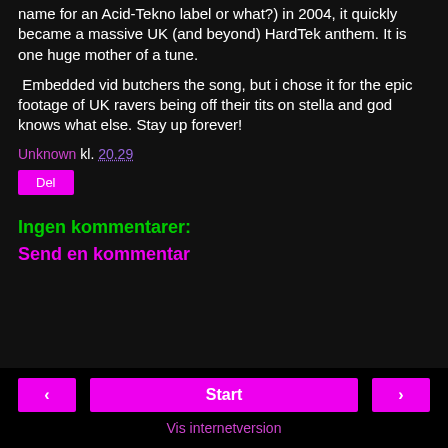name for an Acid-Tekno label or what?) in 2004, it quickly became a massive UK (and beyond) HardTek anthem. It is one huge mother of a tune.
Embedded vid butchers the song, but i chose it for the epic footage of UK ravers being off their tits on stella and god knows what else. Stay up forever!
Unknown kl. 20.29
Del
Ingen kommentarer:
Send en kommentar
< Start > Vis internetversion